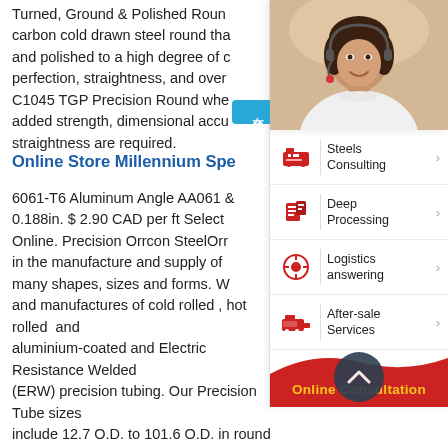Turned, Ground & Polished Round carbon cold drawn steel round that and polished to a high degree of perfection, straightness, and over C1045 TGP Precision Round whe added strength, dimensional accu straightness are required.
Online Store Millennium Spe
6061-T6 Aluminum Angle AA061 0.188in. $ 2.90 CAD per ft Select Online. Precision Orrcon SteelOrr in the manufacture and supply of many shapes, sizes and forms. W and manufactures of cold rolled , hot rolled and aluminium-coated and Electric Resistance Welded (ERW) precision tubing. Our Precision Tube sizes include 12.7 O.D. to 101.6 O.D. in round tube, 12.75 SQ to 65 x 65 in square tube, 25.4 x 12.7 to 80 x 40 in cold rolled and drawn steel pipe weight on sale
[Figure (photo): Customer service representative woman with headset, smiling]
[Figure (infographic): Right-side panel with Chinese tab '在线咨询' (Online Consultation), menu items: Steels Consulting, Deep Processing, Logistics answering, After-sale Services, and Online Consultation button at bottom]